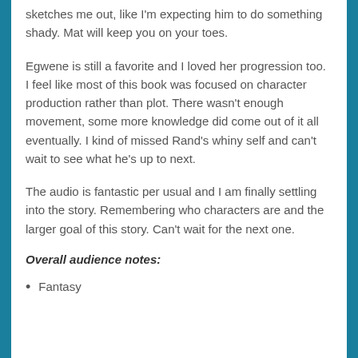sketches me out, like I'm expecting him to do something shady. Mat will keep you on your toes.
Egwene is still a favorite and I loved her progression too. I feel like most of this book was focused on character production rather than plot. There wasn't enough movement, some more knowledge did come out of it all eventually. I kind of missed Rand's whiny self and can't wait to see what he's up to next.
The audio is fantastic per usual and I am finally settling into the story. Remembering who characters are and the larger goal of this story. Can't wait for the next one.
Overall audience notes:
Fantasy